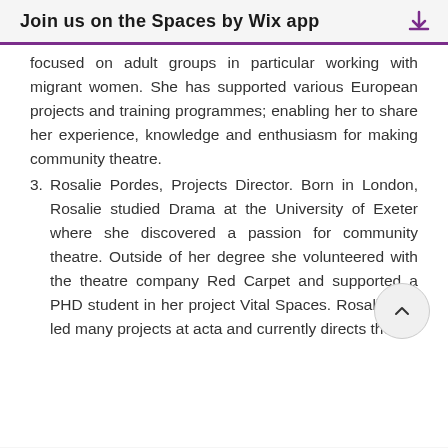Join us on the Spaces by Wix app
focused on adult groups in particular working with migrant women. She has supported various European projects and training programmes; enabling her to share her experience, knowledge and enthusiasm for making community theatre.
3. Rosalie Pordes, Projects Director. Born in London, Rosalie studied Drama at the University of Exeter where she discovered a passion for community theatre. Outside of her degree she volunteered with the theatre company Red Carpet and supported a PHD student in her project Vital Spaces. Rosalie has led many projects at acta and currently directs the